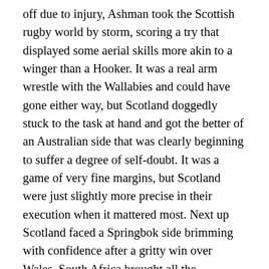off due to injury, Ashman took the Scottish rugby world by storm, scoring a try that displayed some aerial skills more akin to a winger than a Hooker. It was a real arm wrestle with the Wallabies and could have gone either way, but Scotland doggedly stuck to the task at hand and got the better of an Australian side that was clearly beginning to suffer a degree of self-doubt. It was a game of very fine margins, but Scotland were just slightly more precise in their execution when it mattered most. Next up Scotland faced a Springbok side brimming with confidence after a gritty win over Wales. South Africa brought all the physicality and then some that they are renown for, and this time around Scotland struggled to keep up. Scotland's goal kicking was way off the mark, and resulted in them losing an easy 9 points. They were dominated at scrum time by the big and bruising South African pack and their lineouts simply weren't effective. In short, they got bossed by South Africa and only really held their own in the rucks and a slightly better success rate when it came to the tackle count. However, they were ultimately outclassed by their opponents and if they hope to stand a chance against England, France and